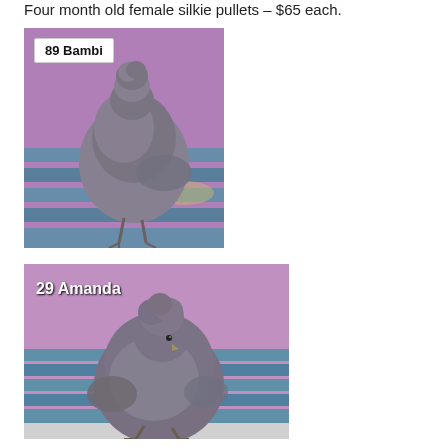Four month old female silkie pullets – $65 each.
[Figure (photo): Photo of a gray silkie pullet labeled '89 Bambi', sitting on a blue wooden bench with a purple background.]
[Figure (photo): Photo of a gray silkie pullet labeled '29 Amanda', sitting on a bench with a purple and blue striped background.]
[Figure (photo): Partial photo of another silkie pullet at the bottom of the page.]